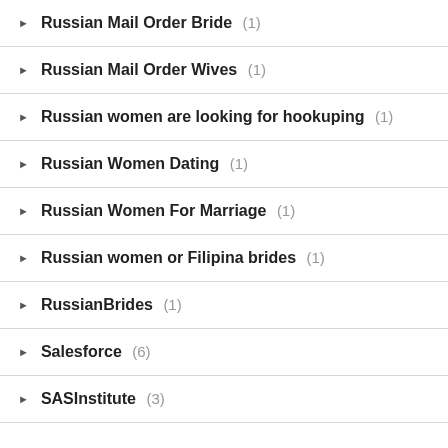Russian Mail Order Bride (1)
Russian Mail Order Wives (1)
Russian women are looking for hookuping (1)
Russian Women Dating (1)
Russian Women For Marriage (1)
Russian women or Filipina brides (1)
RussianBrides (1)
Salesforce (6)
SASInstitute (3)